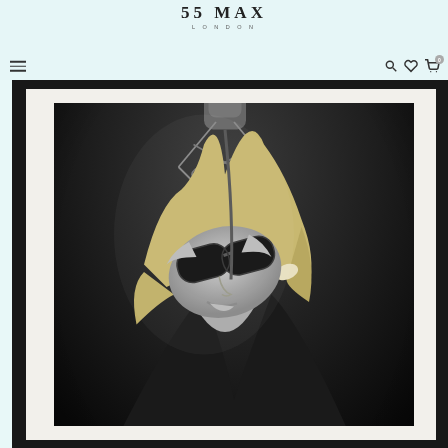55 MAX LONDON
[Figure (logo): 55 MAX LONDON brand logo with bold serif text and 'LONDON' subtitle in spaced capitals]
[Figure (photo): Black and white framed photograph of a woman with sunglasses and blonde hair looking up at a large condenser microphone on a shock mount in a recording studio setting. The photo is presented in a dark frame with white mat.]